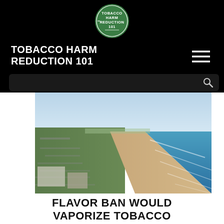[Figure (logo): Tobacco Harm Reduction 101 circular green logo with white text]
TOBACCO HARM REDUCTION 101
[Figure (photo): Aerial photograph of a coastal beach town with a long sandy shoreline and ocean waves]
FLAVOR BAN WOULD VAPORIZE TOBACCO